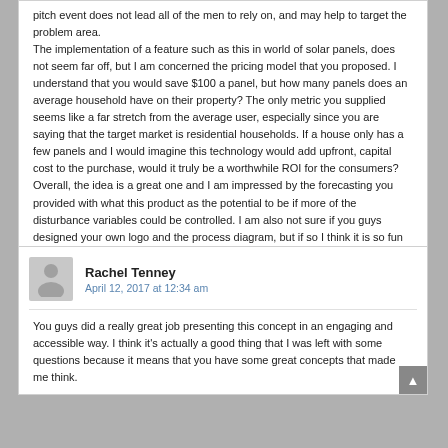pitch event does not lead all of the men to rely on, and may help to target the problem area. The implementation of a feature such as this in world of solar panels, does not seem far off, but I am concerned the pricing model that you proposed. I understand that you would save $100 a panel, but how many panels does an average household have on their property? The only metric you supplied seems like a far stretch from the average user, especially since you are saying that the target market is residential households. If a house only has a few panels and I would imagine this technology would add upfront, capital cost to the purchase, would it truly be a worthwhile ROI for the consumers? Overall, the idea is a great one and I am impressed by the forecasting you provided with what this product as the potential to be if more of the disturbance variables could be controlled. I am also not sure if you guys designed your own logo and the process diagram, but if so I think it is so fun and creative! Nice job!
↩ Reply
Rachel Tenney
April 12, 2017 at 12:34 am
You guys did a really great job presenting this concept in an engaging and accessible way. I think it's actually a good thing that I was left with some questions because it means that you have some great concepts that made me think.